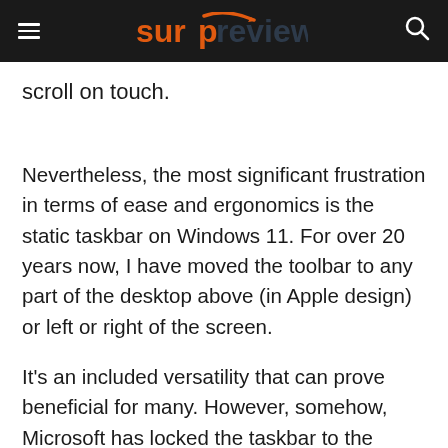surpreview
scroll on touch.
Nevertheless, the most significant frustration in terms of ease and ergonomics is the static taskbar on Windows 11. For over 20 years now, I have moved the toolbar to any part of the desktop above (in Apple design) or left or right of the screen.
It’s an included versatility that can prove beneficial for many. However, somehow, Microsoft has locked the taskbar to the bottom of the screen.